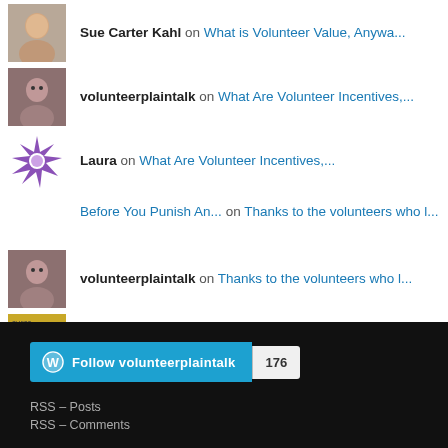Sue Carter Kahl on What is Volunteer Value, Anywa...
volunteerplaintalk on What Are Volunteer Incentives,...
Laura on What Are Volunteer Incentives,...
Before You Punish An... on Thanks to the volunteers who l...
volunteerplaintalk on Thanks to the volunteers who l...
Jayne Cravens on Thanks to the volunteers who l...
Eileen on Volunteerism Lip Service
Follow volunteerplaintalk 176
RSS – Posts
RSS – Comments